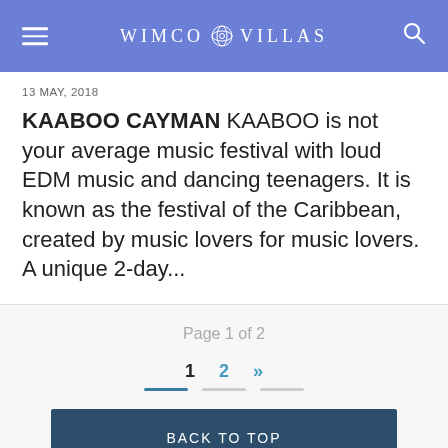WIMCO VILLAS
13 MAY, 2018
KAABOO CAYMAN KAABOO is not your average music festival with loud EDM music and dancing teenagers. It is known as the festival of the Caribbean, created by music lovers for music lovers. A unique 2-day...
Page 1 of 2
1  2  »
BACK TO TOP